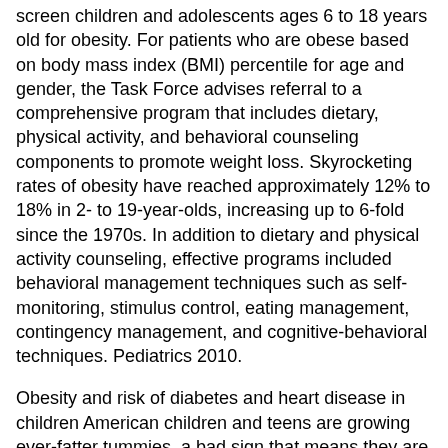screen children and adolescents ages 6 to 18 years old for obesity. For patients who are obese based on body mass index (BMI) percentile for age and gender, the Task Force advises referral to a comprehensive program that includes dietary, physical activity, and behavioral counseling components to promote weight loss. Skyrocketing rates of obesity have reached approximately 12% to 18% in 2- to 19-year-olds, increasing up to 6-fold since the 1970s. In addition to dietary and physical activity counseling, effective programs included behavioral management techniques such as self-monitoring, stimulus control, eating management, contingency management, and cognitive-behavioral techniques. Pediatrics 2010.
Obesity and risk of diabetes and heart disease in children American children and teens are growing ever-fatter tummies, a bad sign that means they are at even more risk of heart disease and diabetes, U.S. researchers reported in November, 2006. They found that the belly fat of children and teenagers had increased by more than 65 percent since the 1990s -- directly in line with rising obesity rates. Belly fat is more dangerous than general weight gain, because abdominal and visceral fat -- found surrounding the internal organs -- is more clearly and strongly linked with disease than general body fat.